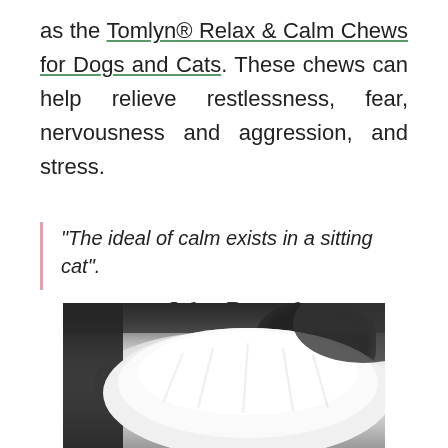as the Tomlyn® Relax & Calm Chews for Dogs and Cats. These chews can help relieve restlessness, fear, nervousness and aggression, and stress.
"The ideal of calm exists in a sitting cat". Jules Renard
[Figure (photo): A fluffy white cat photographed from above, partially visible at the bottom of the page against a dark background.]